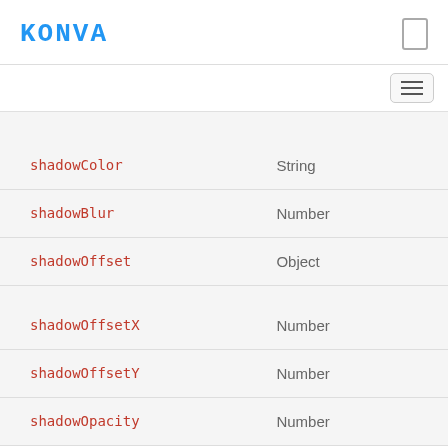KONVA
| Property | Type |
| --- | --- |
| shadowColor | String |
| shadowBlur | Number |
| shadowOffset | Object |
| shadowOffsetX | Number |
| shadowOffsetY | Number |
| shadowOpacity | Number |